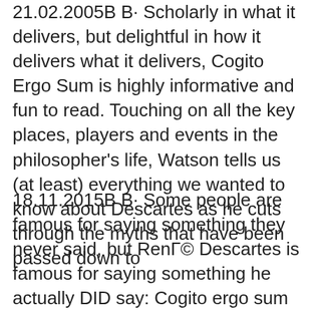21.02.2005B B· Scholarly in what it delivers, but delightful in how it delivers what it delivers, Cogito Ergo Sum is highly informative and fun to read. Touching on all the key places, players and events in the philosopher's life, Watson tells us (at least) everything we wanted to know about Descartes as he cuts through the myths that have been passed down to
18.11.2015B B· Some people are famous for saying something they never said, but RenГ© Descartes is famous for saying something he actually DID say: Cogito ergo sum (I think, therefore I am). These words capture the essence of Descartes вЂ¦ 31.01.2005B B·